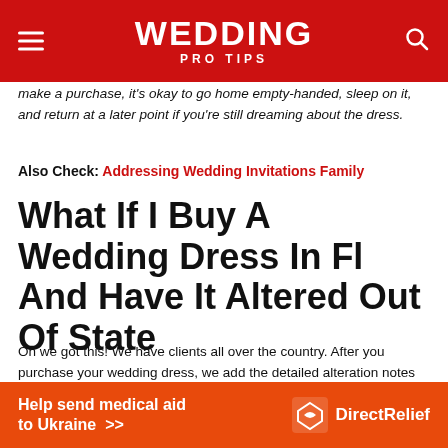WEDDING PRO TIPS
make a purchase, it’s okay to go home empty-handed, sleep on it, and return at a later point if you’re still dreaming about the dress.
Also Check: Addressing Wedding Invitations Family
What If I Buy A Wedding Dress In Fl And Have It Altered Out Of State
Oh we got this! We have clients all over the country. After you purchase your wedding dress, we add the detailed alteration notes and create diagrams of any custom changes. We use our close network of designers and bridal shop owners to help you find the best seamstress
[Figure (other): Help send medical aid to Ukraine >> DirectRelief advertisement banner]